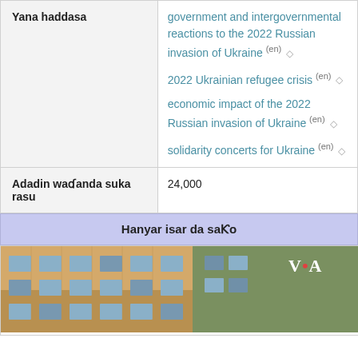| Yana haddasa | government and intergovernmental reactions to the 2022 Russian invasion of Ukraine (en) ◇
2022 Ukrainian refugee crisis (en) ◇
economic impact of the 2022 Russian invasion of Ukraine (en) ◇
solidarity concerts for Ukraine (en) ◇ |
| Adadin waɗanda suka rasu | 24,000 |
Hanyar isar da saƘo
[Figure (photo): Photograph of a building exterior (apartment block with orange/yellow facade), showing windows. VOA logo visible in top right corner.]